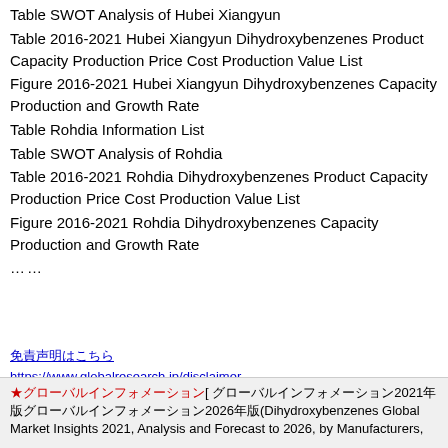Table SWOT Analysis of Hubei Xiangyun
Table 2016-2021 Hubei Xiangyun Dihydroxybenzenes Product Capacity Production Price Cost Production Value List
Figure 2016-2021 Hubei Xiangyun Dihydroxybenzenes Capacity Production and Growth Rate
Table Rohdia Information List
Table SWOT Analysis of Rohdia
Table 2016-2021 Rohdia Dihydroxybenzenes Product Capacity Production Price Cost Production Value List
Figure 2016-2021 Rohdia Dihydroxybenzenes Capacity Production and Growth Rate
……
免責声明はこちら
https://www.globalresearch.jp/disclaimer
★グローバルインフォメーション[ グローバルインフォメーション2021年版グローバルインフォメーション2026年版(Dihydroxybenzenes Global Market Insights 2021, Analysis and Forecast to 2026, by Manufacturers, Regions, Technology, Application, Product